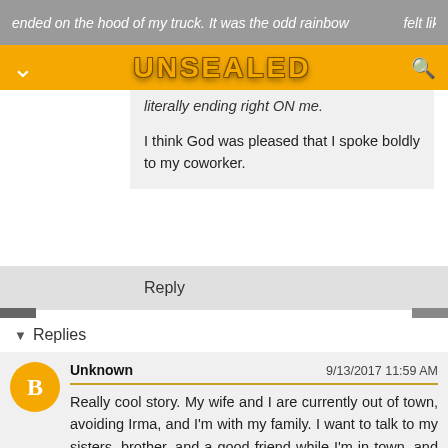UNSEALED
literally ending right ON me.
I think God was pleased that I spoke boldly to my coworker.
Reply
Replies
Unknown   9/13/2017 11:59 AM
Really cool story. My wife and I are currently out of town, avoiding Irma, and I'm with my family. I want to talk to my sisters, brother, and a good friend while I'm in town, and I've been really nervous. But I know this will likely be my last chance to talk to them before